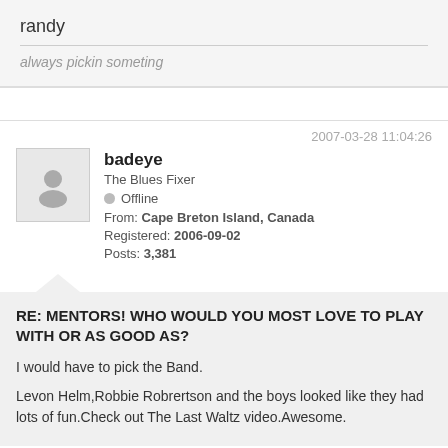randy
always pickin someting
2007-03-28 11:04:26
badeye
The Blues Fixer
Offline
From: Cape Breton Island, Canada
Registered: 2006-09-02
Posts: 3,381
RE: MENTORS! WHO WOULD YOU MOST LOVE TO PLAY WITH OR AS GOOD AS?
I would have to pick the Band.
Levon Helm,Robbie Robrertson and the boys looked like they had lots of fun.Check out The Last Waltz video.Awesome.